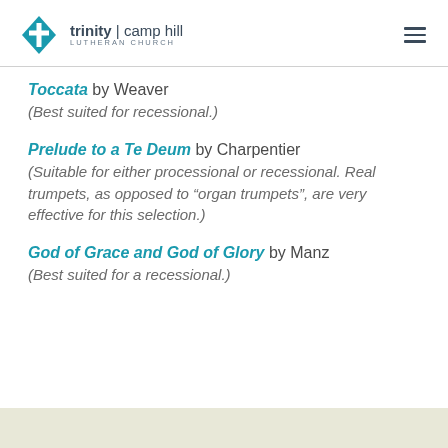trinity | camp hill LUTHERAN CHURCH
Toccata by Weaver
(Best suited for recessional.)
Prelude to a Te Deum by Charpentier
(Suitable for either processional or recessional. Real trumpets, as opposed to “organ trumpets”, are very effective for this selection.)
God of Grace and God of Glory by Manz
(Best suited for a recessional.)